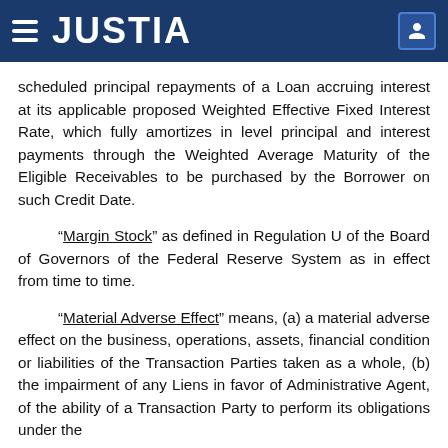JUSTIA
scheduled principal repayments of a Loan accruing interest at its applicable proposed Weighted Effective Fixed Interest Rate, which fully amortizes in level principal and interest payments through the Weighted Average Maturity of the Eligible Receivables to be purchased by the Borrower on such Credit Date.
“Margin Stock” as defined in Regulation U of the Board of Governors of the Federal Reserve System as in effect from time to time.
“Material Adverse Effect” means, (a) a material adverse effect on the business, operations, assets, financial condition or liabilities of the Transaction Parties taken as a whole, (b) the impairment of any Liens in favor of Administrative Agent, of the ability of a Transaction Party to perform its obligations under the